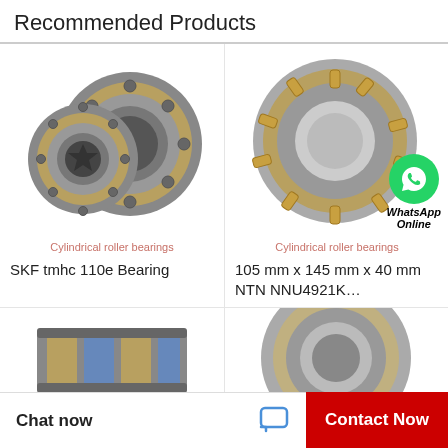Recommended Products
[Figure (photo): Two cylindrical roller bearings (SKF tmhc 110e) shown side by side on white background]
Cylindrical roller bearings
SKF tmhc 110e Bearing
[Figure (photo): Single cylindrical roller bearing (NTN NNU4921K) with WhatsApp Online badge overlay]
Cylindrical roller bearings
105 mm x 145 mm x 40 mm NTN NNU4921K…
[Figure (photo): Partial view of a bearing product at bottom left]
[Figure (photo): Partial view of a bearing product at bottom right]
Chat now
Contact Now